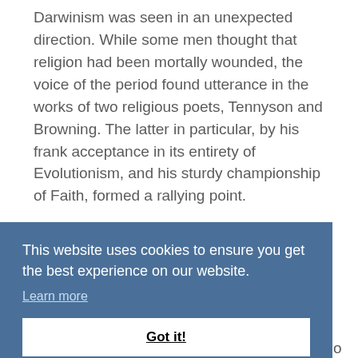Darwinism was seen in an unexpected direction. While some men thought that religion had been mortally wounded, the voice of the period found utterance in the works of two religious poets, Tennyson and Browning. The latter in particular, by his frank acceptance in its entirety of Evolutionism, and his sturdy championship of Faith, formed a rallying point.
[Figure (screenshot): Cookie consent banner with blue background. Text reads: 'This website uses cookies to ensure you get the best experience on our website.' with a 'Learn more' link and a 'Got it!' button.]
n to
o
her
arose in the person of, James Martineau, who